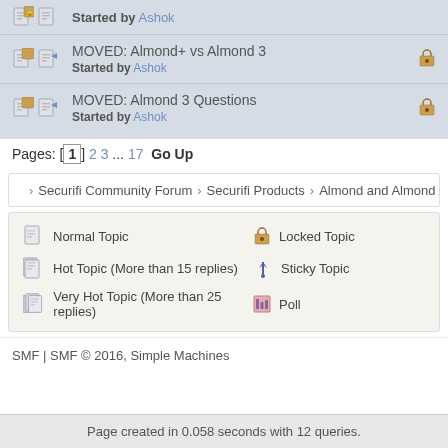Started by Ashok
MOVED: Almond+ vs Almond 3 — Started by Ashok
MOVED: Almond 3 Questions — Started by Ashok
Pages: [1] 2 3 ... 17   Go Up
Securifi Community Forum › Securifi Products › Almond and Almond A1A
Normal Topic   Locked Topic   Hot Topic (More than 15 replies)   Sticky Topic   Very Hot Topic (More than 25 replies)   Poll
SMF | SMF © 2016, Simple Machines
Page created in 0.058 seconds with 12 queries.